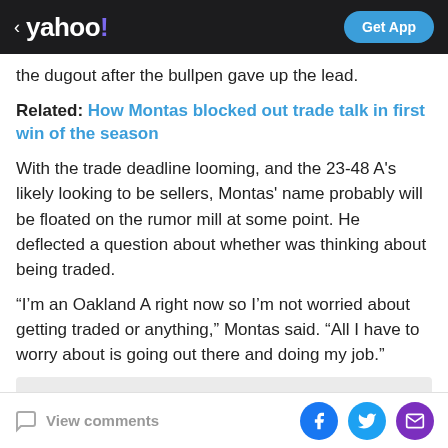< yahoo! | Get App
the dugout after the bullpen gave up the lead.
Related: How Montas blocked out trade talk in first win of the season
With the trade deadline looming, and the 23-48 A's likely looking to be sellers, Montas' name probably will be floated on the rumor mill at some point. He deflected a question about whether was thinking about being traded.
“I’m an Oakland A right now so I’m not worried about getting traded or anything,” Montas said. “All I have to worry about is going out there and doing my job.”
View comments | Facebook | Twitter | Email